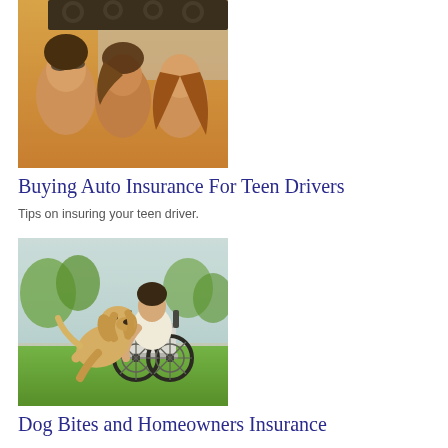[Figure (photo): Young women in sunglasses laughing in an open-top car on a sunny day]
Buying Auto Insurance For Teen Drivers
Tips on insuring your teen driver.
[Figure (photo): A golden Labrador dog jumping up on a person sitting in a wheelchair outdoors in a park]
Dog Bites and Homeowners Insurance
Reviewing coverage options is just one thing responsible pet parents can do to help look out for their dogs.